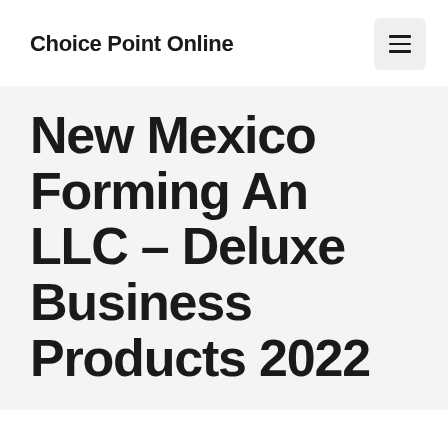Choice Point Online
New Mexico Forming An LLC – Deluxe Business Products 2022